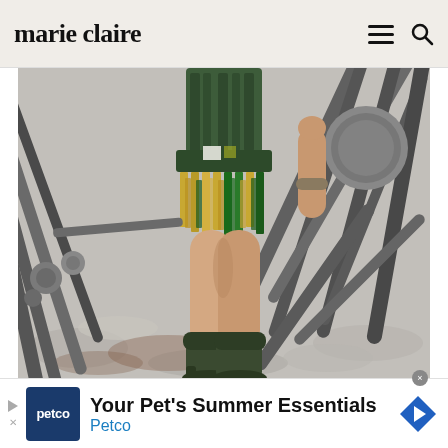marie claire
[Figure (photo): Close-up fashion photo of a person wearing a green structured corset/bodice and metallic fringe skirt, surrounded by industrial metal pipes and tubes in the background. The lower body and legs are visible, with dark olive/green platform boots.]
Your Pet's Summer Essentials
Petco